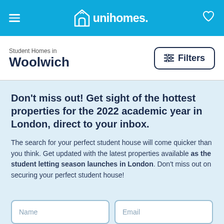unihomes.
Student Homes in
Woolwich
Filters
Don't miss out! Get sight of the hottest properties for the 2022 academic year in London, direct to your inbox.
The search for your perfect student house will come quicker than you think. Get updated with the latest properties available as the student letting season launches in London. Don't miss out on securing your perfect student house!
Name
Email